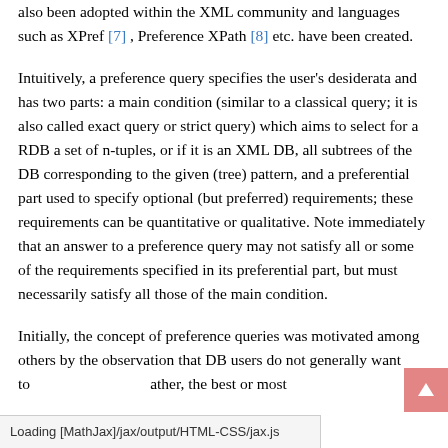also been adopted within the XML community and languages such as XPref [7] , Preference XPath [8] etc. have been created.
Intuitively, a preference query specifies the user's desiderata and has two parts: a main condition (similar to a classical query; it is also called exact query or strict query) which aims to select for a RDB a set of n-tuples, or if it is an XML DB, all subtrees of the DB corresponding to the given (tree) pattern, and a preferential part used to specify optional (but preferred) requirements; these requirements can be quantitative or qualitative. Note immediately that an answer to a preference query may not satisfy all or some of the requirements specified in its preferential part, but must necessarily satisfy all those of the main condition.
Initially, the concept of preference queries was motivated among others by the observation that DB users do not generally want to rather, the best or most